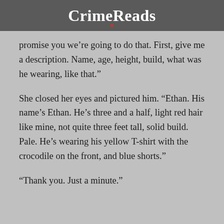CrimeReads
promise you we’re going to do that. First, give me a description. Name, age, height, build, what was he wearing, like that.”
She closed her eyes and pictured him. “Ethan. His name’s Ethan. He’s three and a half, light red hair like mine, not quite three feet tall, solid build. Pale. He’s wearing his yellow T-shirt with the crocodile on the front, and blue shorts.”
“Thank you. Just a minute.”